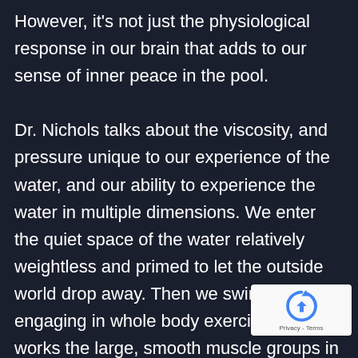However, it's not just the physiological response in our brain that adds to our sense of inner peace in the pool.

Dr. Nichols talks about the viscosity, and pressure unique to our experience of the water, and our ability to experience the water in multiple dimensions. We enter the quiet space of the water relatively weightless and primed to let the outside world drop away. Then we swim, engaging in whole body exercise that works the large, smooth muscle groups in the body in an alternating rhythmic pattern. When accompanied by the deep, rhythmic breathing required in a
[Figure (logo): reCAPTCHA badge with recycling-arrow logo icon and 'Privacy - Terms' text]